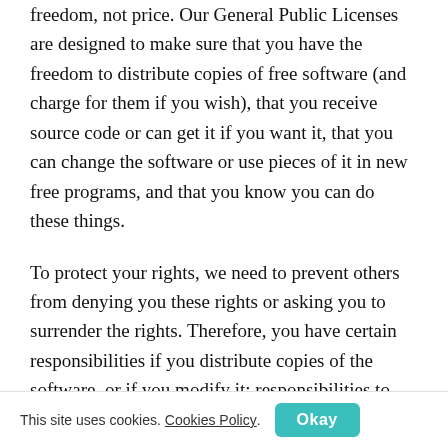freedom, not price. Our General Public Licenses are designed to make sure that you have the freedom to distribute copies of free software (and charge for them if you wish), that you receive source code or can get it if you want it, that you can change the software or use pieces of it in new free programs, and that you know you can do these things.
To protect your rights, we need to prevent others from denying you these rights or asking you to surrender the rights. Therefore, you have certain responsibilities if you distribute copies of the software, or if you modify it: responsibilities to respect the freedom of others.
For example, if you distribute copies of such a program, whether gratis or for a fee, you must pass on to the
This site uses cookies. Cookies Policy. Okay